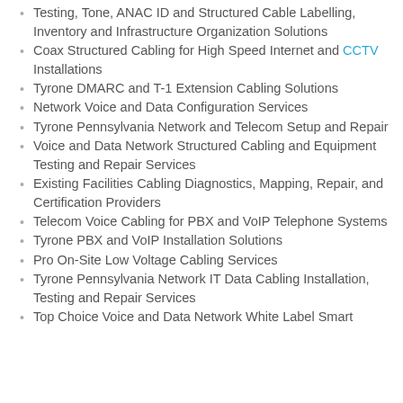Testing, Tone, ANAC ID and Structured Cable Labelling, Inventory and Infrastructure Organization Solutions
Coax Structured Cabling for High Speed Internet and CCTV Installations
Tyrone DMARC and T-1 Extension Cabling Solutions
Network Voice and Data Configuration Services
Tyrone Pennsylvania Network and Telecom Setup and Repair
Voice and Data Network Structured Cabling and Equipment Testing and Repair Services
Existing Facilities Cabling Diagnostics, Mapping, Repair, and Certification Providers
Telecom Voice Cabling for PBX and VoIP Telephone Systems
Tyrone PBX and VoIP Installation Solutions
Pro On-Site Low Voltage Cabling Services
Tyrone Pennsylvania Network IT Data Cabling Installation, Testing and Repair Services
Top Choice Voice and Data Network White Label Smart